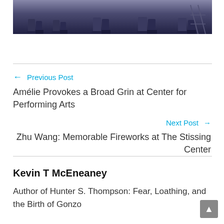[Figure (photo): Bottom portion of a stage performance photo showing feet/legs of performers on stage with dark background]
← Previous Post
Amélie Provokes a Broad Grin at Center for Performing Arts
Next Post →
Zhu Wang: Memorable Fireworks at The Stissing Center
Kevin T McEneaney
Author of Hunter S. Thompson: Fear, Loathing, and the Birth of Gonzo